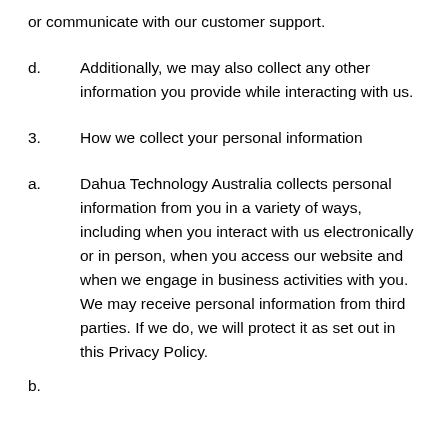or communicate with our customer support.
d.	Additionally, we may also collect any other information you provide while interacting with us.
3.	How we collect your personal information
a.	Dahua Technology Australia collects personal information from you in a variety of ways, including when you interact with us electronically or in person, when you access our website and when we engage in business activities with you. We may receive personal information from third parties. If we do, we will protect it as set out in this Privacy Policy.
b.